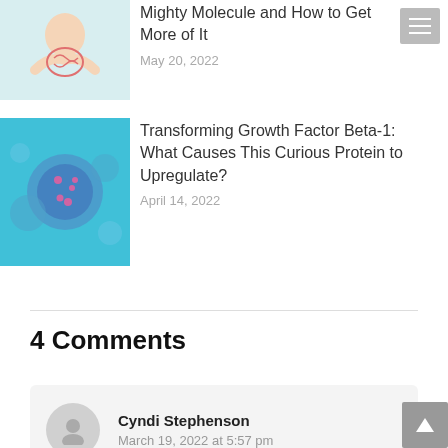[Figure (photo): Person holding hands around illustrated gut/intestine image on teal background]
Mighty Molecule and How to Get More of It
May 20, 2022
[Figure (photo): Microscopic cell image with blue tones and pink dots on cyan background]
Transforming Growth Factor Beta-1: What Causes This Curious Protein to Upregulate?
April 14, 2022
4 Comments
Cyndi Stephenson
March 19, 2022 at 5:57 pm